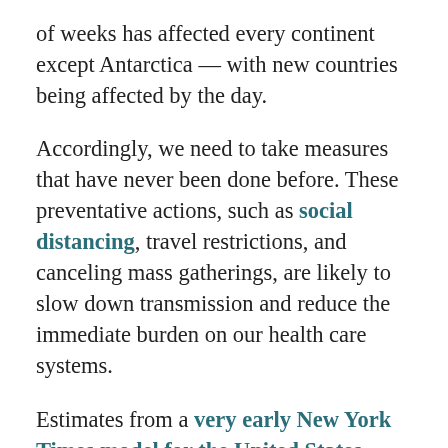of weeks has affected every continent except Antarctica — with new countries being affected by the day.
Accordingly, we need to take measures that have never been done before. These preventative actions, such as social distancing, travel restrictions, and canceling mass gatherings, are likely to slow down transmission and reduce the immediate burden on our health care systems.
Estimates from a very early New York Times model for the United States suggest that aggressive social distancing, widespread testing, and other interventions could reduce Covid-19 infections from a possible peak of 9 million to just 513,000, and total deaths from 982,000 to 51,000